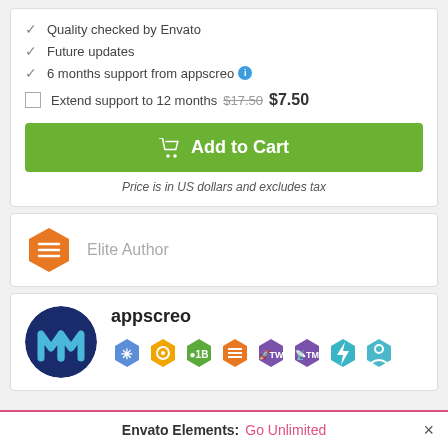Quality checked by Envato
Future updates
6 months support from appscreo
Extend support to 12 months  $17.50  $7.50
Add to Cart
Price is in US dollars and excludes tax
Elite Author
appscreo
Envato Elements: Go Unlimited